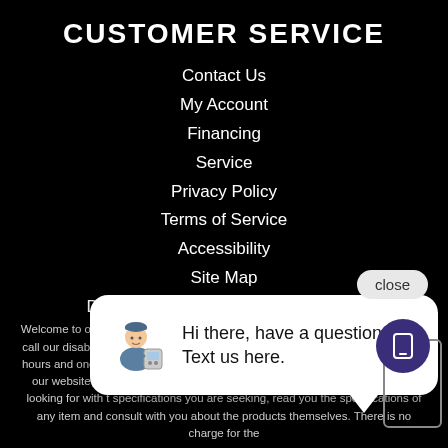CUSTOMER SERVICE
Contact Us
My Account
Financing
Service
Privacy Policy
Terms of Service
Accessibility
Site Map
Do Not Sell My Personal Information
[Figure (screenshot): Chat popup with technician illustration and text: Hi there, have a question? Text us here.]
Welcome to our w... on our website (o... company our size... our website. Ho... Please call our disability services phone line at (563) 382-9000 during regular business hours and one of our kind and friendly personal s... will help you navigate through our website, help conduct adva... searches, help you choose the item you are looking for with t... specifications you are seeking, read you the specifications of any item and consult with you about the products themselves. There is no charge for the